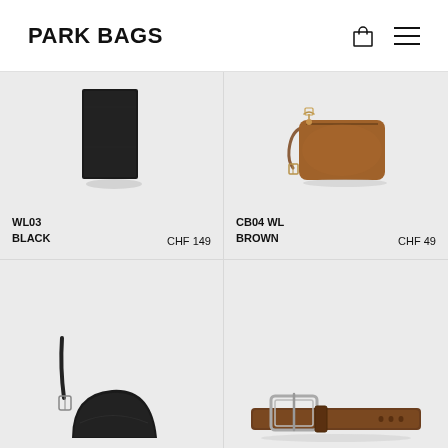PARK BAGS
[Figure (photo): Black long wallet product photo on grey background]
WL03
BLACK
CHF 149
[Figure (photo): Brown leather wristlet/camera bag with zipper and clip]
CB04 WL
BROWN
CHF 49
[Figure (photo): Black leather half-moon crossbody bag on grey background]
[Figure (photo): Brown leather belt with silver buckle on grey background]